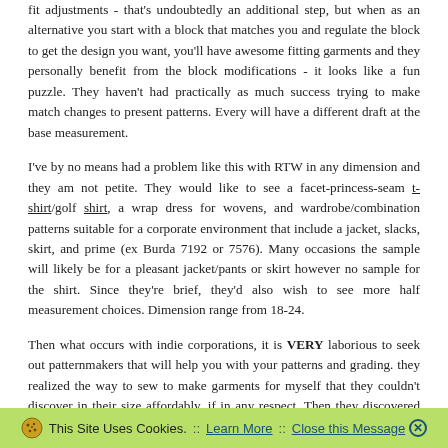fit adjustments - that's undoubtedly an additional step, but when as an alternative you start with a block that matches you and regulate the block to get the design you want, you'll have awesome fitting garments and they personally benefit from the block modifications - it looks like a fun puzzle. They haven't had practically as much success trying to make match changes to present patterns. Every will have a different draft at the base measurement.
I've by no means had a problem like this with RTW in any dimension and they am not petite. They would like to see a facet-princess-seam t-shirt/golf shirt, a wrap dress for wovens, and wardrobe/combination patterns suitable for a corporate environment that include a jacket, slacks, skirt, and prime (ex Burda 7192 or 7576). Many occasions the sample will likely be for a pleasant jacket/pants or skirt however no sample for the shirt. Since they're brief, they'd also wish to see more half measurement choices. Dimension range from 18-24.
Then what occurs with indie corporations, it is VERY laborious to seek out patternmakers that will help you with your patterns and grading. they realized the way to sew to make garments for myself that they couldn't discover in their size affordably, if in any respect. Then they discovered that in lots of cases, they're out of luck with
This Site Uses Cookies. :: Learn More :: Close this Message ✕